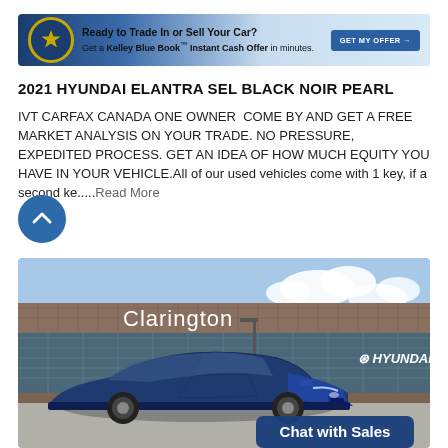[Figure (other): Kelley Blue Book advertisement banner: 'Ready to Trade In or Sell Your Car? Get a Kelley Blue Book Instant Cash Offer in minutes.' with GET MY OFFER button]
2021 HYUNDAI ELANTRA SEL BLACK NOIR PEARL
IVT CARFAX CANADA ONE OWNER  COME BY AND GET A FREE MARKET ANALYSIS ON YOUR TRADE. NO PRESSURE, EXPEDITED PROCESS. GET AN IDEA OF HOW MUCH EQUITY YOU HAVE IN YOUR VEHICLE.All of our used vehicles come with 1 key, if a second ke.....Read More
[Figure (photo): Clarington Hyundai dealership exterior with a blue Hyundai Elantra in foreground. Dealership sign reads 'Clarington' on building facade with Hyundai logo. Chat with Sales button overlay at bottom right.]